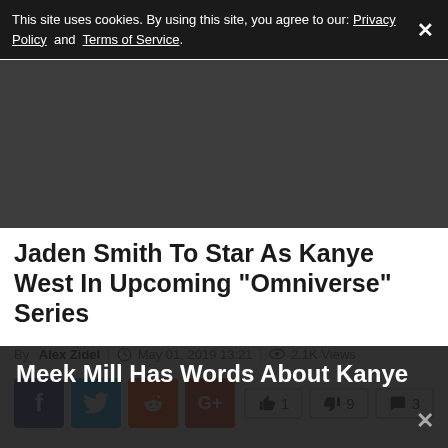This site uses cookies. By using this site, you agree to our: Privacy Policy and Terms of Service.
[Figure (other): Dark gray advertisement or banner area]
Jaden Smith To Star As Kanye West In Upcoming "Omniverse" Series
By Alex Zidel | May 01, 2019 13:21 | 2.1K Views
[Figure (other): Social share buttons: Facebook, Twitter, Reddit, Google+; vote counts: thumbs up 1, thumbs down 9, comments 3]
Meek Mill Has Words About Kanye